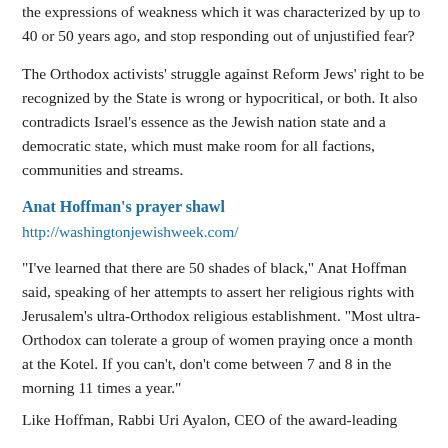the expressions of weakness which it was characterized by up to 40 or 50 years ago, and stop responding out of unjustified fear?
The Orthodox activists' struggle against Reform Jews' right to be recognized by the State is wrong or hypocritical, or both. It also contradicts Israel's essence as the Jewish nation state and a democratic state, which must make room for all factions, communities and streams.
Anat Hoffman's prayer shawl
http://washingtonjewishweek.com/
"I've learned that there are 50 shades of black," Anat Hoffman said, speaking of her attempts to assert her religious rights with Jerusalem's ultra-Orthodox religious establishment. "Most ultra-Orthodox can tolerate a group of women praying once a month at the Kotel. If you can't, don't come between 7 and 8 in the morning 11 times a year."
Like Hoffman, Rabbi Uri Ayalon, CEO of the award-winning